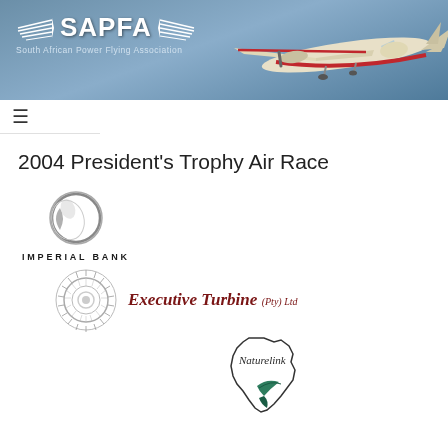[Figure (logo): SAPFA (South African Power Flying Association) header banner with logo, wings graphic, subtitle text, and a Cessna aircraft image on a steel-blue gradient background]
2004 President’s Trophy Air Race
[Figure (logo): Imperial Bank logo: grey sphere/circle icon above text 'IMPERIAL BANK' in spaced capital letters]
[Figure (logo): Executive Turbine (Pty) Ltd logo: circular sunburst/gear emblem next to italic dark-red text 'Executive Turbine (Pty) Ltd']
[Figure (logo): Naturelink logo: outline map of Africa with 'Naturelink' text in cursive and a stylized bird/nature element in green and teal]